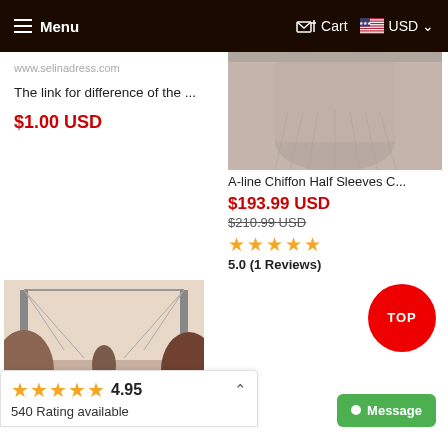≡ Menu  Cart  USD
www.selinadress.com
The link for difference of the ...
$1.00 USD
[Figure (photo): A-line chiffon dress photo showing lower half with pleated skirt in grey/beige tone]
A-line Chiffon Half Sleeves C...
$193.99 USD
$210.99 USD
★★★★★
5.0 (1 Reviews)
[Figure (photo): Outdoor wedding/event photo with decorative arch structure]
★★★★★ 4.95
540 Rating available